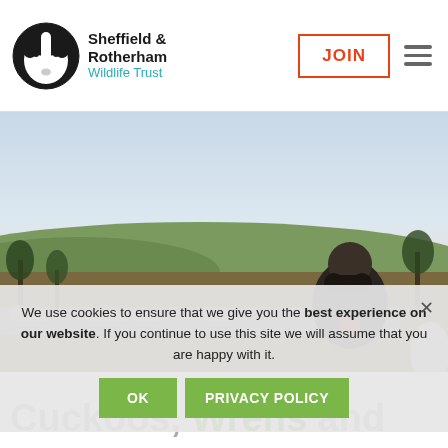[Figure (logo): Sheffield & Rotherham Wildlife Trust logo with badger illustration and teal subtitle text]
JOIN
[Figure (photo): Person using binoculars looking over a dry stone wall at moorland landscape at dusk/dawn]
We use cookies to ensure that we give you the best experience on our website. If you continue to use this site we will assume that you are happy with it.
OK
PRIVACY POLICY
Cuckoos, Wrens and